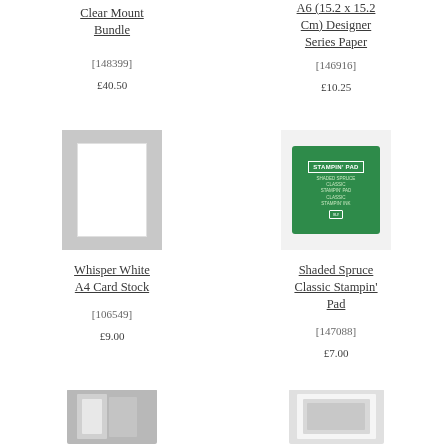Clear Mount Bundle
[148399]
£40.50
A6 (15.2 x 15.2 Cm) Designer Series Paper
[146916]
£10.25
[Figure (photo): Whisper White A4 Card Stock - grey background with white card sheet]
[Figure (photo): Shaded Spruce Classic Stampin' Pad - green ink pad on white background]
Whisper White A4 Card Stock
[106549]
£9.00
Shaded Spruce Classic Stampin' Pad
[147088]
£7.00
[Figure (photo): Partially visible product image at bottom left]
[Figure (photo): Partially visible product image at bottom right]